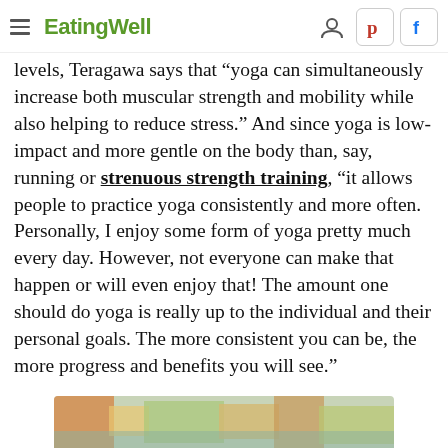EatingWell
levels, Teragawa says that "yoga can simultaneously increase both muscular strength and mobility while also helping to reduce stress." And since yoga is low-impact and more gentle on the body than, say, running or strenuous strength training, "it allows people to practice yoga consistently and more often. Personally, I enjoy some form of yoga pretty much every day. However, not everyone can make that happen or will even enjoy that! The amount one should do yoga is really up to the individual and their personal goals. The more consistent you can be, the more progress and benefits you will see."
[Figure (photo): A photo strip at the bottom showing a food dish, partially visible]